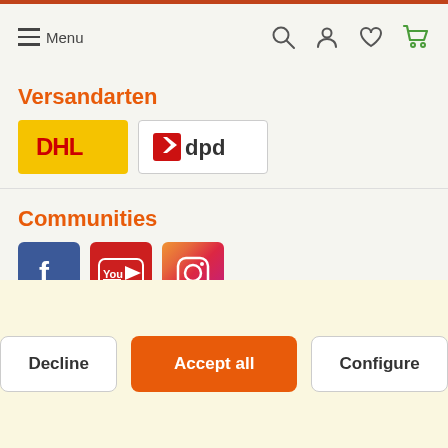Menu
Versandarten
[Figure (logo): DHL and DPD shipping carrier logos]
Communities
[Figure (logo): Facebook, YouTube, and Instagram social media icons]
* All prices incl. value added tax.
Terms and Conditions | Imprint | Privacy policy |
Decline | Accept all | Configure